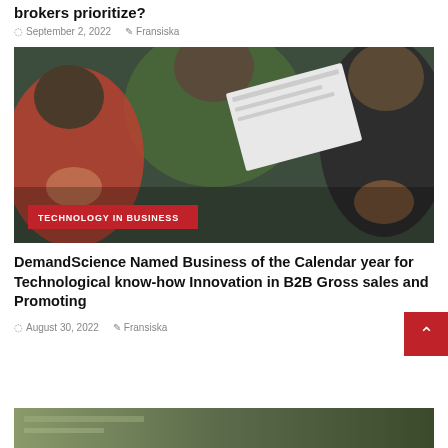brokers prioritize?
September 2, 2022   Fransiska
[Figure (photo): Group of young people laughing and looking at papers together, with a red 'TECHNOLOGY IN BUSINESS' category badge overlaid at the bottom left]
DemandScience Named Business of the Calendar year for Technological know-how Innovation in B2B Gross sales and Promoting
August 30, 2022   Fransiska